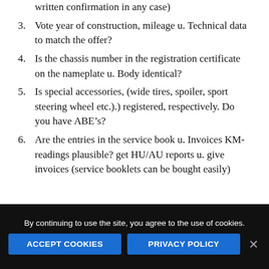written confirmation in any case)
3. Vote year of construction, mileage u. Technical data to match the offer?
4. Is the chassis number in the registration certificate on the nameplate u. Body identical?
5. Is special accessories, (wide tires, spoiler, sport steering wheel etc.).) registered, respectively. Do you have ABE’s?
6. Are the entries in the service book u. Invoices KM-readings plausible? get HU/AU reports u. give invoices (service booklets can be bought easily)
By continuing to use the site, you agree to the use of cookies.